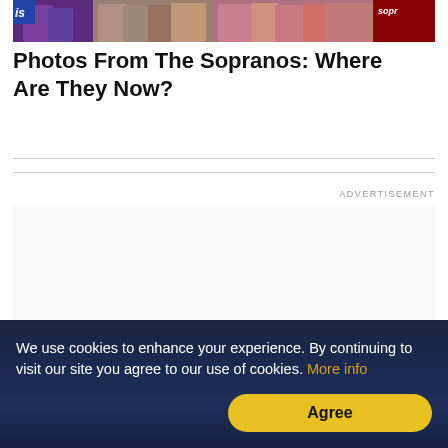[Figure (photo): Group photo of cast members from The Sopranos TV show at what appears to be a promotional event or premiere, with a red banner visible on the right side.]
Photos From The Sopranos: Where Are They Now?
ADVERTISEMENT
We use cookies to enhance your experience. By continuing to visit our site you agree to our use of cookies. More info
Agree